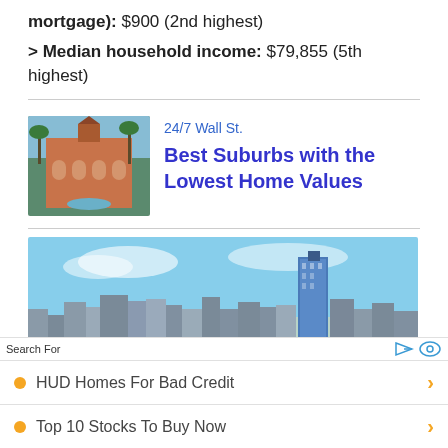mortgage): $900 (2nd highest)
> Median household income: $79,855 (5th highest)
[Figure (photo): Historic building with fountain and palm trees (St. Augustine, FL style architecture)]
24/7 Wall St.
Best Suburbs with the Lowest Home Values
[Figure (photo): City skyline with blue sky, tall glass skyscraper prominent]
Search For
HUD Homes For Bad Credit
Top 10 Stocks To Buy Now